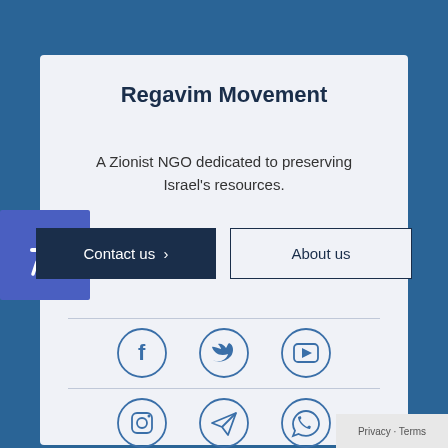Regavim Movement
A Zionist NGO dedicated to preserving Israel's resources.
[Figure (illustration): Two buttons: 'Contact us ›' (dark navy background, white text) and 'About us' (outlined border, dark text)]
[Figure (illustration): Social media icons row 1: Facebook, Twitter, YouTube — each inside a circle outline in blue]
[Figure (illustration): Social media icons row 2: Instagram, Telegram, WhatsApp — each inside a circle outline in blue]
Privacy · Terms